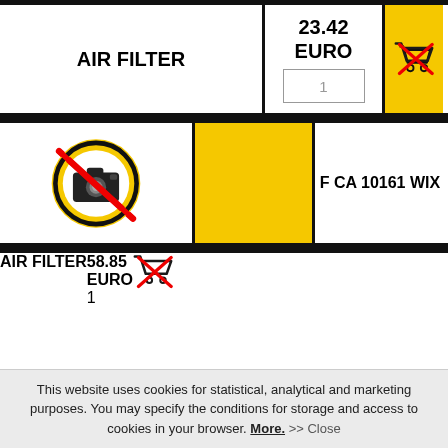AIR FILTER
23.42 EURO
[Figure (other): Shopping cart icon crossed out in red on yellow background]
[Figure (other): No photo available icon: camera with prohibition sign on white background]
[Figure (other): Yellow rectangle block]
F CA 10161 WIX
AIR FILTER
58.85 EURO
[Figure (other): Shopping cart icon crossed out in red on yellow background]
[Figure (other): No photo available icon: camera with prohibition sign on white background]
[Figure (other): Yellow rectangle block]
F CA 10465 WIX
This website uses cookies for statistical, analytical and marketing purposes. You may specify the conditions for storage and access to cookies in your browser. More. >> Close